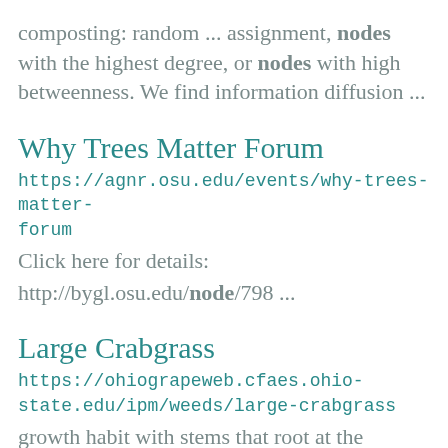composting: random ... assignment, nodes with the highest degree, or nodes with high betweenness. We find information diffusion ...
Why Trees Matter Forum
https://agnr.osu.edu/events/why-trees-matter-forum
Click here for details:
http://bygl.osu.edu/node/798 ...
Large Crabgrass
https://ohiograpeweb.cfaes.ohio-state.edu/ipm/weeds/large-crabgrass
growth habit with stems that root at the